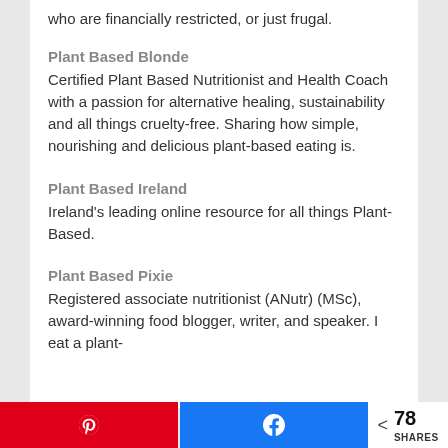who are financially restricted, or just frugal.
Plant Based Blonde
Certified Plant Based Nutritionist and Health Coach with a passion for alternative healing, sustainability and all things cruelty-free. Sharing how simple, nourishing and delicious plant-based eating is.
Plant Based Ireland
Ireland's leading online resource for all things Plant-Based.
Plant Based Pixie
Registered associate nutritionist (ANutr) (MSc), award-winning food blogger, writer, and speaker. I eat a plant-
78 SHARES